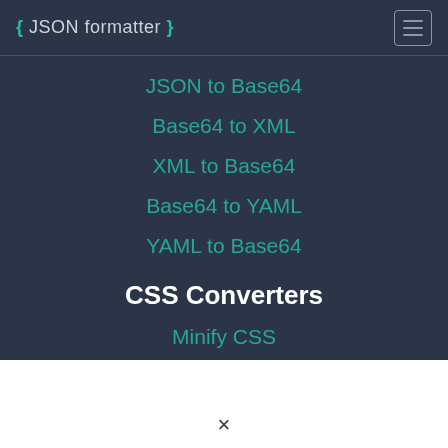{ JSON formatter }
JSON to Base64
Base64 to XML
XML to Base64
Base64 to YAML
YAML to Base64
CSS Converters
Minify CSS
×